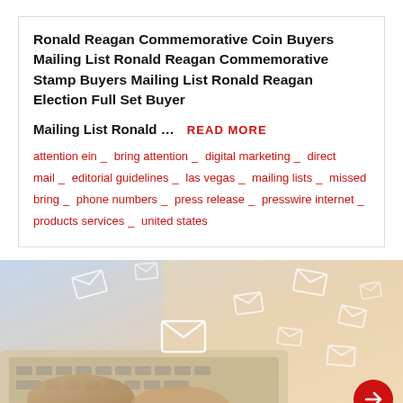Ronald Reagan Commemorative Coin Buyers Mailing List Ronald Reagan Commemorative Stamp Buyers Mailing List Ronald Reagan Election Full Set Buyer
Mailing List Ronald … READ MORE
attention ein _ bring attention _ digital marketing _ direct mail _ editorial guidelines _ las vegas _ mailing lists _ missed bring _ phone numbers _ press release _ presswire internet _ products services _ united states
[Figure (photo): Hands typing on a laptop keyboard with envelope/mail icons flying above, representing digital mailing. A red circular button with an arrow is in the bottom right.]